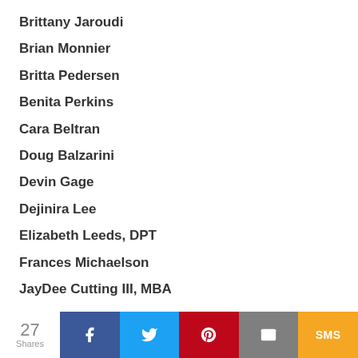Brittany Jaroudi
Brian Monnier
Britta Pedersen
Benita Perkins
Cara Beltran
Doug Balzarini
Devin Gage
Dejinira Lee
Elizabeth Leeds, DPT
Frances Michaelson
JayDee Cutting III, MBA
27 Shares | Facebook | Twitter | Pinterest | Email | SMS